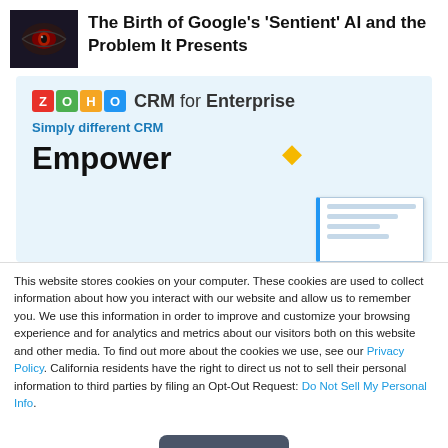The Birth of Google's 'Sentient' AI and the Problem It Presents
[Figure (screenshot): Zoho CRM for Enterprise advertisement banner showing logo, tagline 'Simply different CRM', heading 'Empower', and product screenshot]
This website stores cookies on your computer. These cookies are used to collect information about how you interact with our website and allow us to remember you. We use this information in order to improve and customize your browsing experience and for analytics and metrics about our visitors both on this website and other media. To find out more about the cookies we use, see our Privacy Policy. California residents have the right to direct us not to sell their personal information to third parties by filing an Opt-Out Request: Do Not Sell My Personal Info.
Accept